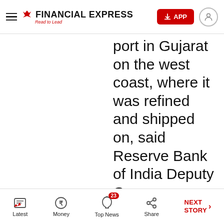FINANCIAL EXPRESS — Read to Lead
port in Gujarat on the west coast, where it was refined and shipped on, said Reserve Bank of India Deputy Governor Michael Patra.
India @ 75: Indigenous guns will
Latest | Money | Top News 23 | Share | NEXT STORY →